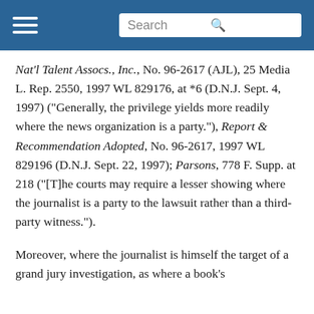Search
Nat'l Talent Assocs., Inc., No. 96-2617 (AJL), 25 Media L. Rep. 2550, 1997 WL 829176, at *6 (D.N.J. Sept. 4, 1997) ("Generally, the privilege yields more readily where the news organization is a party."), Report & Recommendation Adopted, No. 96-2617, 1997 WL 829196 (D.N.J. Sept. 22, 1997); Parsons, 778 F. Supp. at 218 ("[T]he courts may require a lesser showing where the journalist is a party to the lawsuit rather than a third-party witness.").
Moreover, where the journalist is himself the target of a grand jury investigation, as where a book's